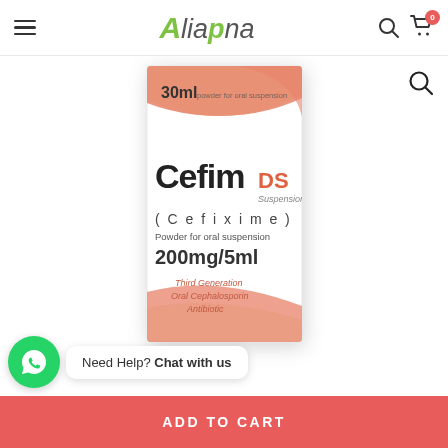Aliapna — navigation bar with hamburger menu, logo, search icon, cart icon
[Figure (photo): Product photo of Cefim DS Suspension (Cefixime) Powder for oral suspension 200mg/5ml, 30ml bottle box. White box with salmon/coral colored diagonal stripe design. Text on box: 30ml, Cefim DS Suspension, (Cefixime), Powder for oral suspension, 200mg/5ml, Third Generation Oral Cephalosporin Antibiotic.]
Need Help? Chat with us
ADD TO CART